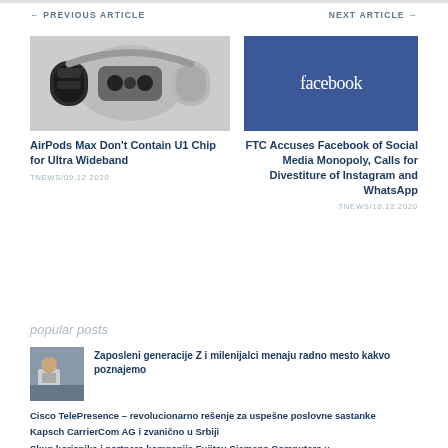← PREVIOUS ARTICLE | NEXT ARTICLE →
[Figure (photo): Exploded view of AirPods Max headphone internals showing mechanical components on grey background]
AirPods Max Don't Contain U1 Chip for Ultra Wideband
TNEWS/09.12.2020
[Figure (logo): Facebook logo - white lowercase 'facebook' text on blue background]
FTC Accuses Facebook of Social Media Monopoly, Calls for Divestiture of Instagram and WhatsApp
TNEWS/10.12.2020
popular posts
[Figure (photo): Person sitting at desk with laptop, workplace scene]
Zaposleni generacije Z i milenijalci menaju radno mesto kakvo poznajemo
Cisco TelePresence – revolucionarno rešenje za uspešne poslovne sastanke
Kapsch CarrierCom AG i zvanično u Srbiji
Skup korisnika i partnera kompanije Fujitsu Siemens Computers u